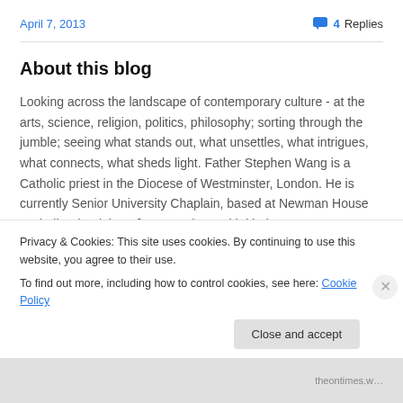April 7, 2013      4 Replies
About this blog
Looking across the landscape of contemporary culture - at the arts, science, religion, politics, philosophy; sorting through the jumble; seeing what stands out, what unsettles, what intrigues, what connects, what sheds light. Father Stephen Wang is a Catholic priest in the Diocese of Westminster, London. He is currently Senior University Chaplain, based at Newman House Catholic Chaplaincy. [Banner photo with kind permission of Matthew Powell]
Privacy & Cookies: This site uses cookies. By continuing to use this website, you agree to their use.
To find out more, including how to control cookies, see here: Cookie Policy
Close and accept